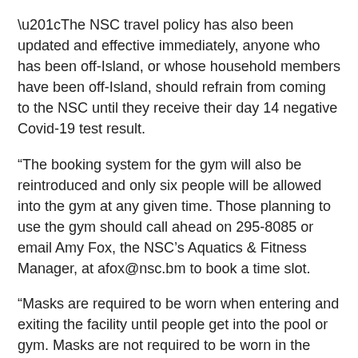“The NSC travel policy has also been updated and effective immediately, anyone who has been off-Island, or whose household members have been off-Island, should refrain from coming to the NSC until they receive their day 14 negative Covid-19 test result.
“The booking system for the gym will also be reintroduced and only six people will be allowed into the gym at any given time. Those planning to use the gym should call ahead on 295-8085 or email Amy Fox, the NSC’s Aquatics & Fitness Manager, at afox@nsc.bm to book a time slot.
“Masks are required to be worn when entering and exiting the facility until people get into the pool or gym. Masks are not required to be worn in the gym while exercising.
“Lifeguards and NSC staff will be wiping down surfaces such as handrails, gym equipment, door handles etc. regularly throughout the day. Physical distancing will be enforced and the numbers of people